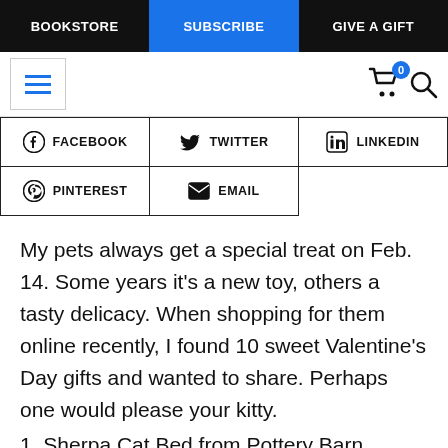BOOKSTORE | SUBSCRIBE | GIVE A GIFT
[Figure (screenshot): Navigation toolbar with hamburger menu (blue lines), cart icon with badge showing 0, and search icon]
[Figure (infographic): Social share buttons row 1: Facebook, Twitter, LinkedIn]
[Figure (infographic): Social share buttons row 2: Pinterest, Email]
My pets always get a special treat on Feb. 14. Some years it’s a new toy, others a tasty delicacy. When shopping for them online recently, I found 10 sweet Valentine’s Day gifts and wanted to share. Perhaps one would please your kitty.
1. Sherpa Cat Bed from Pottery Barn